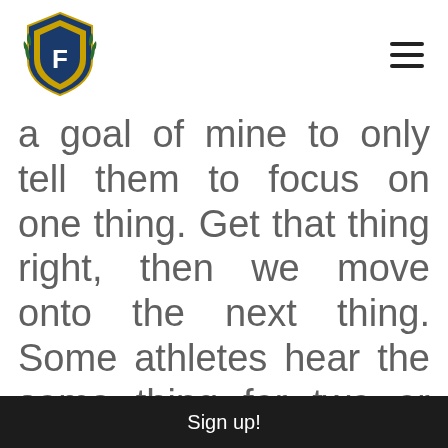[Figure (logo): Shield-shaped sports club logo with letter F in yellow and blue, with laurel branches]
a goal of mine to only tell them to focus on one thing. Get that thing right, then we move onto the next thing. Some athletes hear the same thing for two or three
Sign up!